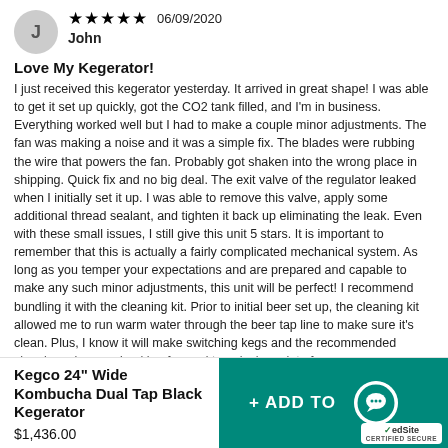John — ★★★★★ 06/09/2020
Love My Kegerator!
I just received this kegerator yesterday. It arrived in great shape! I was able to get it set up quickly, got the CO2 tank filled, and I'm in business. Everything worked well but I had to make a couple minor adjustments. The fan was making a noise and it was a simple fix. The blades were rubbing the wire that powers the fan. Probably got shaken into the wrong place in shipping. Quick fix and no big deal. The exit valve of the regulator leaked when I initially set it up. I was able to remove this valve, apply some additional thread sealant, and tighten it back up eliminating the leak. Even with these small issues, I still give this unit 5 stars. It is important to remember that this is actually a fairly complicated mechanical system. As long as you temper your expectations and are prepared and capable to make any such minor adjustments, this unit will be perfect! I recommend bundling it with the cleaning kit. Prior to initial beer set up, the cleaning kit allowed me to run warm water through the beer tap line to make sure it's clean. Plus, I know it will make switching kegs and the recommended cleaning a breeze. Looking forward to enjoying a lot of
Kegco 24" Wide Kombucha Dual Tap Black Kegerator
$1,436.00
[Figure (other): Add to cart button (teal/green) with chat bubble icon and TrustedSite certified secure badge]